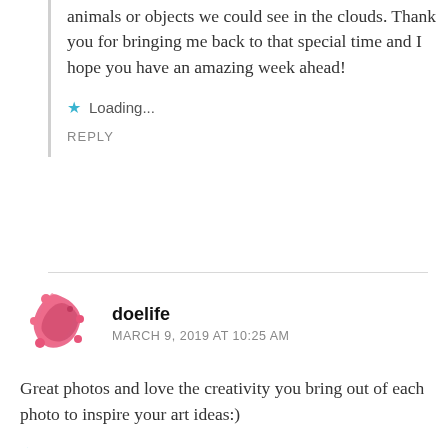animals or objects we could see in the clouds. Thank you for bringing me back to that special time and I hope you have an amazing week ahead!
Loading...
REPLY
doelife
MARCH 9, 2019 AT 10:25 AM
Great photos and love the creativity you bring out of each photo to inspire your art ideas:)
Loading...